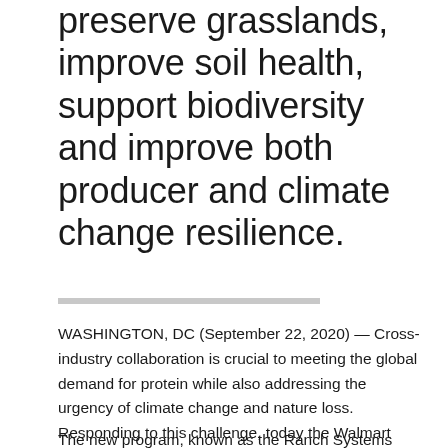preserve grasslands, improve soil health, support biodiversity and improve both producer and climate change resilience.
WASHINGTON, DC (September 22, 2020) — Cross-industry collaboration is crucial to meeting the global demand for protein while also addressing the urgency of climate change and nature loss. Responding to this challenge, today the Walmart Foundation, Cargill and McDonald's are investing over $6 million in an initiative led by World Wildlife Fund that aims to make lasting improvements to the grasslands of the Northern Great Plains.
The new program, known as the Ranch Systems and